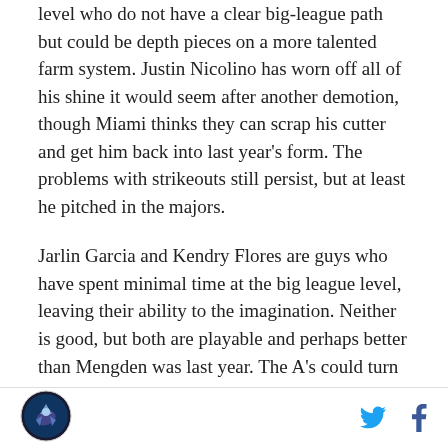level who do not have a clear big-league path but could be depth pieces on a more talented farm system. Justin Nicolino has worn off all of his shine it would seem after another demotion, though Miami thinks they can scrap his cutter and get him back into last year's form. The problems with strikeouts still persist, but at least he pitched in the majors.
Jarlin Garcia and Kendry Flores are guys who have spent minimal time at the big league level, leaving their ability to the imagination. Neither is good, but both are playable and perhaps better than Mengden was last year. The A's could turn to either guy to help replace Hill in the rotation, and at least Garcia is a work in
[Figure (logo): SB Nation logo - circular dark logo with a bird/rocket graphic]